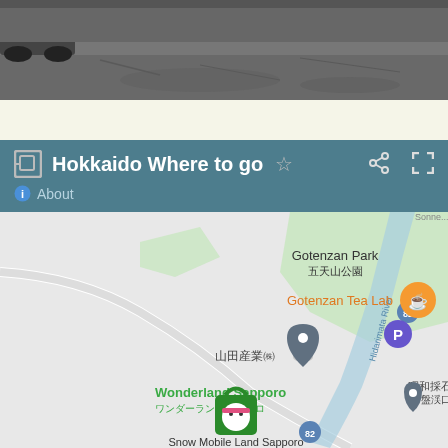[Figure (photo): Top portion of page showing a dark road/parking area with a car visible in the upper left, asphalt surface with wet/icy texture]
[Figure (screenshot): Google Maps UI showing header bar with title 'Hokkaido Where to go', star, share, and fullscreen icons, plus 'About' link with info icon. Below is a Google Maps view showing Gotenzan Park (五天山公園), Gotenzan Tea Lab (orange pin), parking marker (P), road 82, Hidarimata River, 山田産業㈱ location pin, Wonderland Sapporo / ワンダーランドサッポロ label with a custom green/white icon, Snow Mobile Land Sapporo label, and 昭和採石㈱ 盤渓 partial label with dark pin.]